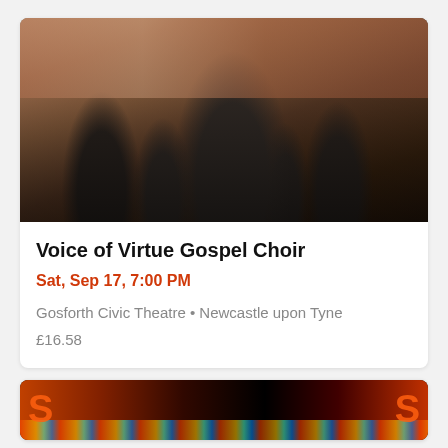[Figure (photo): Group photo of Voice of Virtue Gospel Choir members dressed in black, walking outdoors in front of a brick building. A woman in a leather jacket leads the group in the center.]
Voice of Virtue Gospel Choir
Sat, Sep 17, 7:00 PM
Gosforth Civic Theatre • Newcastle upon Tyne
£16.58
[Figure (photo): Partially visible event listing card showing a colorful concert/entertainment scene with orange and red lights and a large letter S visible on both sides.]